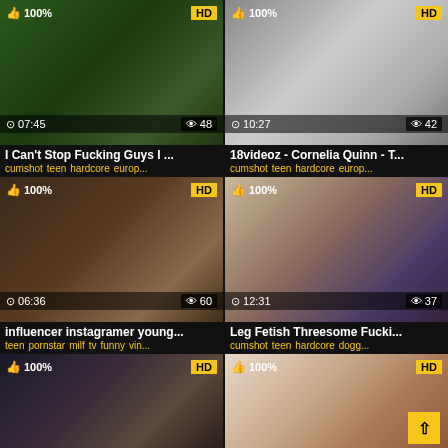[Figure (screenshot): Video thumbnail grid showing 6 adult video thumbnails with titles, tags, duration, views, HD badges, and 100% rating badges]
I Can't Stop Fucking Guys I ...
cumshot teen hardcore europ...
18videoz - Cornelia Quinn - T...
cumshot teen hardcore europ...
influencer instagramer young...
teen pornstar milf tv funny vin...
Leg Fetish Threesome Fucki...
cumshot teen hardcore dogg...